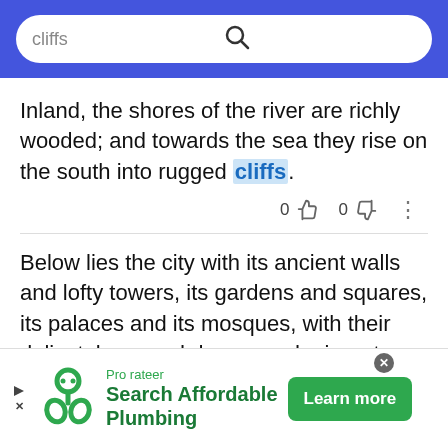cliffs
Inland, the shores of the river are richly wooded; and towards the sea they rise on the south into rugged cliffs.
0 [thumbs up] 0 [thumbs down] [more options]
Below lies the city with its ancient walls and lofty towers, its gardens and squares, its palaces and its mosques, with their delicately-carved domes and minarets covered with fantastic tracery, the port of Bulak, the gardens and palace of Shubra, the broad river studded with islands, the valley of the Nile dotted with groups of trees, with the pyramids on
[Figure (other): Advertisement banner for Prorateer featuring a green logo, text 'Search Affordable Plumbing', and a 'Learn more' button]